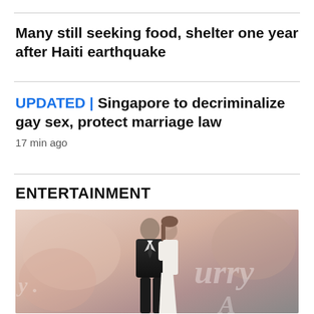Many still seeking food, shelter one year after Haiti earthquake
UPDATED | Singapore to decriminalize gay sex, protect marriage law
17 min ago
ENTERTAINMENT
[Figure (photo): A couple standing close together at what appears to be an event backdrop with cursive text visible. The man wears a dark suit and the woman a light outfit.]